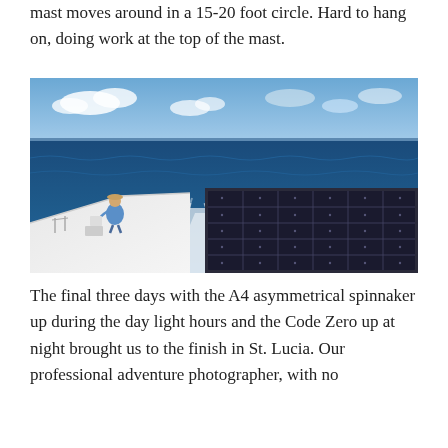mast moves around in a 15-20 foot circle. Hard to hang on, doing work at the top of the mast.
[Figure (photo): View from the deck of a sailing catamaran underway at sea, showing solar panels on the starboard side of the deck, a person seated near the stern, and a wake in the blue ocean behind the vessel. Blue sky with clouds visible on the horizon.]
The final three days with the A4 asymmetrical spinnaker up during the day light hours and the Code Zero up at night brought us to the finish in St. Lucia. Our professional adventure photographer, with no